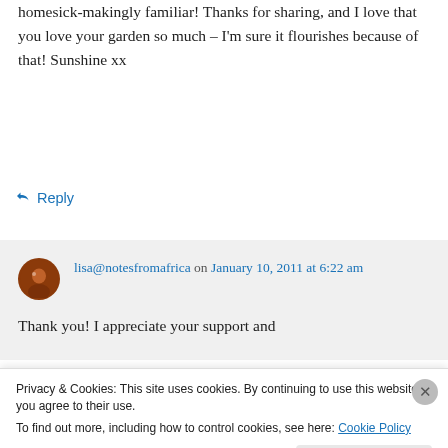homesick-makingly familiar! Thanks for sharing, and I love that you love your garden so much – I'm sure it flourishes because of that! Sunshine xx
↳ Reply
lisa@notesfromafrica on January 10, 2011 at 6:22 am
Thank you! I appreciate your support and
Privacy & Cookies: This site uses cookies. By continuing to use this website, you agree to their use.
To find out more, including how to control cookies, see here: Cookie Policy
Close and accept